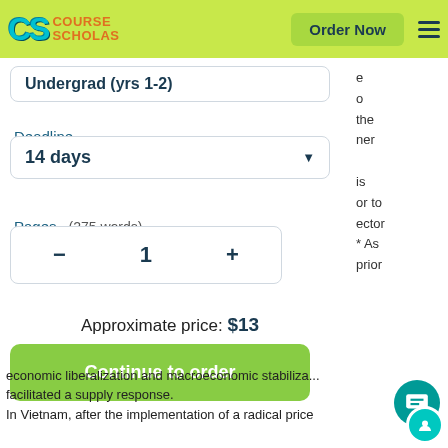Course Scholars — Order Now
Undergrad (yrs 1-2)
Deadline
14 days
Pages    (275 words)
1
Approximate price: $13
Continue to order
economic liberalization and macroeconomic stabiliza... facilitated a supply response.
In Vietnam, after the implementation of a radical price